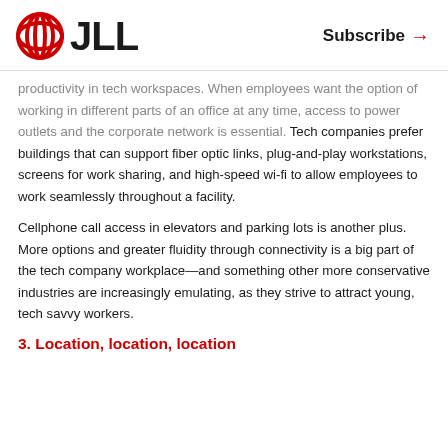JLL | Subscribe →
productivity in tech workspaces. When employees want the option of working in different parts of an office at any time, access to power outlets and the corporate network is essential. Tech companies prefer buildings that can support fiber optic links, plug-and-play workstations, screens for work sharing, and high-speed wi-fi to allow employees to work seamlessly throughout a facility.
Cellphone call access in elevators and parking lots is another plus. More options and greater fluidity through connectivity is a big part of the tech company workplace—and something other more conservative industries are increasingly emulating, as they strive to attract young, tech savvy workers.
3. Location, location, location